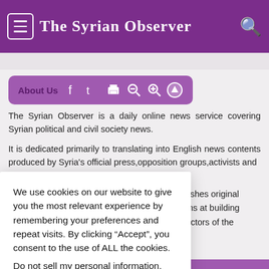The Syrian Observer
About Us
The Syrian Observer is a daily online news service covering Syrian political and civil society news.
It is dedicated primarily to translating into English news contents produced by Syria's official press,opposition groups,activists and
We use cookies on our website to give you the most relevant experience by remembering your preferences and repeat visits. By clicking “Accept”, you consent to the use of ALL the cookies.

Do not sell my personal information.
publishes original
o aims at building
ain actors of the
Subscribe to our newsletter